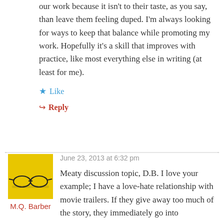our work because it isn't to their taste, as you say, than leave them feeling duped. I'm always looking for ways to keep that balance while promoting my work. Hopefully it's a skill that improves with practice, like most everything else in writing (at least for me).
Like
Reply
June 23, 2013 at 6:32 pm
[Figure (photo): Avatar photo of M.Q. Barber showing glasses on a yellow textured background]
M.Q. Barber
Meaty discussion topic, D.B. I love your example; I have a love-hate relationship with movie trailers. If they give away too much of the story, they immediately go into